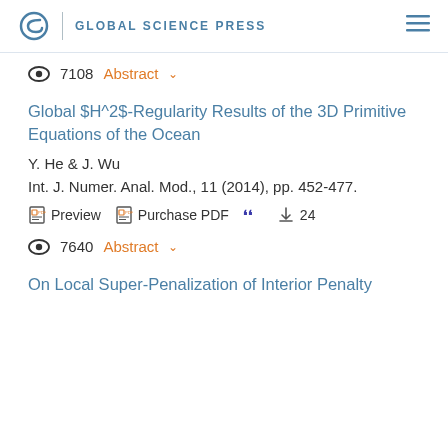GLOBAL SCIENCE PRESS
7108   Abstract
Global $H^2$-Regularity Results of the 3D Primitive Equations of the Ocean
Y. He & J. Wu
Int. J. Numer. Anal. Mod., 11 (2014), pp. 452-477.
Preview   Purchase PDF   99   24
7640   Abstract
On Local Super-Penalization of Interior Penalty